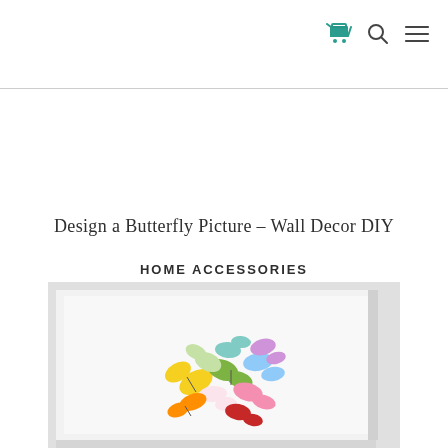Design a Butterfly Picture – Wall Decor DIY
HOME ACCESSORIES
[Figure (photo): A framed white picture with colorful paper butterflies arranged in a circular/bouquet pattern. The butterflies are in various pastel and bright colors including yellow, green, blue, pink, orange, and red, 3D raised from the white background.]